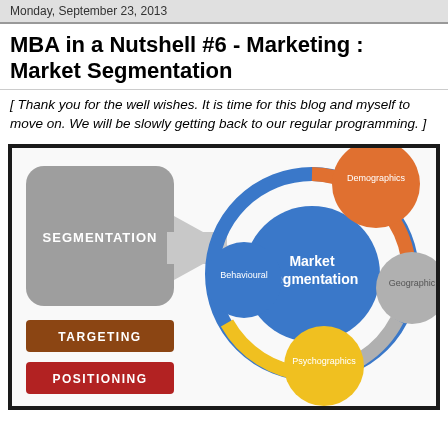Monday, September 23, 2013
MBA in a Nutshell #6 - Marketing : Market Segmentation
[ Thank you for the well wishes. It is time for this blog and myself to move on. We will be slowly getting back to our regular programming. ]
[Figure (infographic): Market Segmentation diagram with SEGMENTATION arrow, TARGETING and POSITIONING boxes on the left, and a circular diagram on the right showing Market Segmentation in the center blue circle surrounded by Demographics (orange), Behavioural (blue), Psychographics (yellow), and Geographic (gray) circles connected by a ring.]